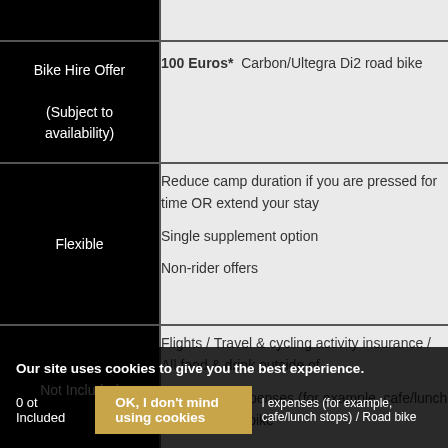|  |  |
| --- | --- |
|  |  |
| Bike Hire Offer

(Subject to availability) | 100 Euros*  Carbon/Ultegra Di2 road bike |
| Flexible | Reduce camp duration if you are pressed for time OR extend your stay

Single supplement option

Non-rider offers |
| Not Included | Flights / Travel & cycling activity insurance / All food & drink outside of ... / personal expenses (for example, cafe/lunch stops) / Road bike |
Our site uses cookies to give you the best experience.
OK, I don't mind using cookies